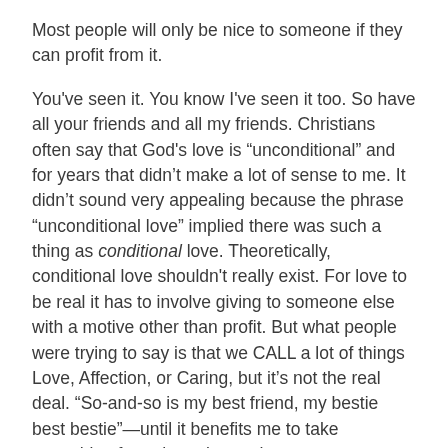Most people will only be nice to someone if they can profit from it.
You've seen it. You know I've seen it too. So have all your friends and all my friends. Christians often say that God's love is “unconditional” and for years that didn't make a lot of sense to me. It didn't sound very appealing because the phrase "unconditional love" implied there was such a thing as conditional love. Theoretically, conditional love shouldn't really exist. For love to be real it has to involve giving to someone else with a motive other than profit. But what people were trying to say is that we CALL a lot of things Love, Affection, or Caring, but it's not the real deal. “So-and-so is my best friend, my bestie best bestie”—until it benefits me to take something from them, bump them out to get a bigger platform on social media,